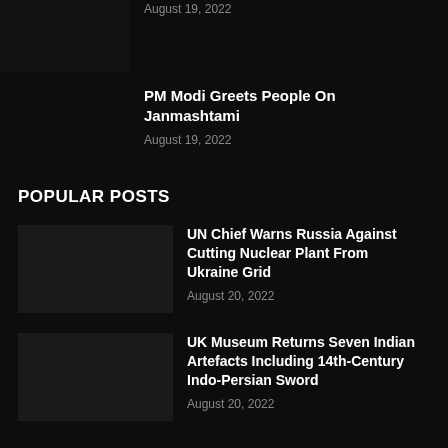August 19, 2022
[Figure (photo): Dark thumbnail image of an article]
PM Modi Greets People On Janmashtami
August 19, 2022
POPULAR POSTS
[Figure (photo): Dark thumbnail image for UN Chief article]
UN Chief Warns Russia Against Cutting Nuclear Plant From Ukraine Grid
August 20, 2022
[Figure (photo): Dark thumbnail image for UK Museum article]
UK Museum Returns Seven Indian Artefacts Including 14th-Century Indo-Persian Sword
August 20, 2022